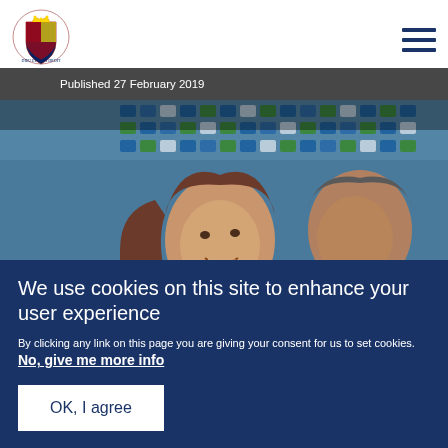[Figure (logo): UK Government Royal Coat of Arms logo]
Published 27 February 2019
[Figure (photo): Photo of a smiling woman with brown hair meeting someone, with blue and green stadium seats in the background]
We use cookies on this site to enhance your user experience
By clicking any link on this page you are giving your consent for us to set cookies. No, give me more info
OK, I agree